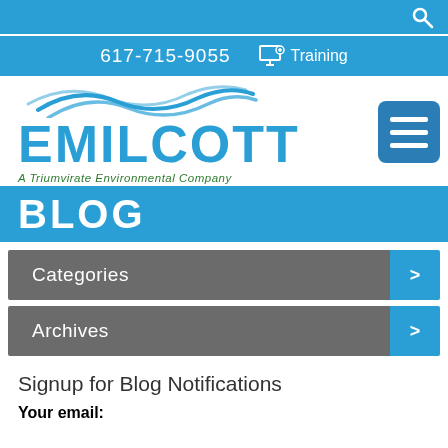Search bar with search icon
617-715-9055  Training
[Figure (logo): Emilcott logo with wave graphic above name, tagline 'A Triumvirate Environmental Company', and hamburger menu button]
BLOG
Categories >
Archives >
Signup for Blog Notifications
Your email: